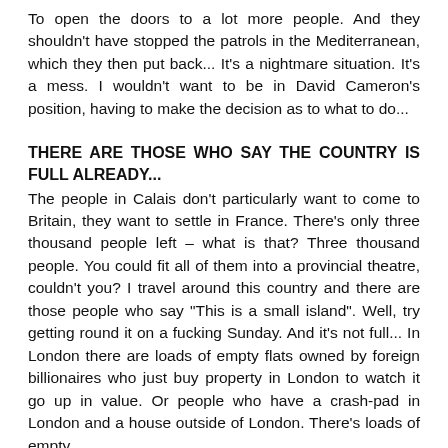To open the doors to a lot more people. And they shouldn't have stopped the patrols in the Mediterranean, which they then put back... It's a nightmare situation. It's a mess. I wouldn't want to be in David Cameron's position, having to make the decision as to what to do...
THERE ARE THOSE WHO SAY THE COUNTRY IS FULL ALREADY...
The people in Calais don't particularly want to come to Britain, they want to settle in France. There's only three thousand people left – what is that? Three thousand people. You could fit all of them into a provincial theatre, couldn't you? I travel around this country and there are those people who say "This is a small island". Well, try getting round it on a fucking Sunday. And it's not full... In London there are loads of empty flats owned by foreign billionaires who just buy property in London to watch it go up in value. Or people who have a crash-pad in London and a house outside of London. There's loads of empty